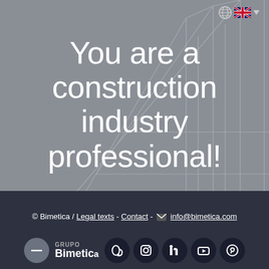[Figure (illustration): Gray background with architectural line drawing of a building/structure in the upper right corner]
You are a construction industry professional!
Improving work performance is not often easy. At Bimetica, we are
© Bimetica / Legal texts - Contact - info@bimetica.com
[Figure (logo): Footer logo row: minus/close button, Grupo Bimetica logo, hearing aid icon, Instagram, LinkedIn, YouTube, Pinterest social icons]